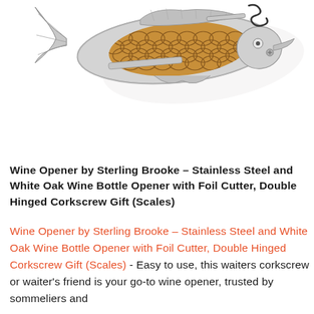[Figure (photo): Fish-shaped wine opener/corkscrew with stainless steel body and wood grain scale pattern on the handle, viewed from above at a slight angle. The corkscrew worm and foil cutter are visible.]
Wine Opener by Sterling Brooke – Stainless Steel and White Oak Wine Bottle Opener with Foil Cutter, Double Hinged Corkscrew Gift (Scales)
Wine Opener by Sterling Brooke – Stainless Steel and White Oak Wine Bottle Opener with Foil Cutter, Double Hinged Corkscrew Gift (Scales) - Easy to use, this waiters corkscrew or waiter's friend is your go-to wine opener, trusted by sommeliers and